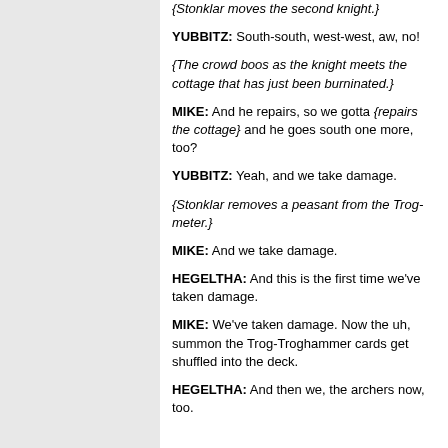{Stonklar moves the second knight.}
YUBBITZ: South-south, west-west, aw, no!
{The crowd boos as the knight meets the cottage that has just been burninated.}
MIKE: And he repairs, so we gotta {repairs the cottage} and he goes south one more, too?
YUBBITZ: Yeah, and we take damage.
{Stonklar removes a peasant from the Trog-meter.}
MIKE: And we take damage.
HEGELTHA: And this is the first time we've taken damage.
MIKE: We've taken damage. Now the uh, summon the Trog-Troghammer cards get shuffled into the deck.
HEGELTHA: And then we, the archers now, too.